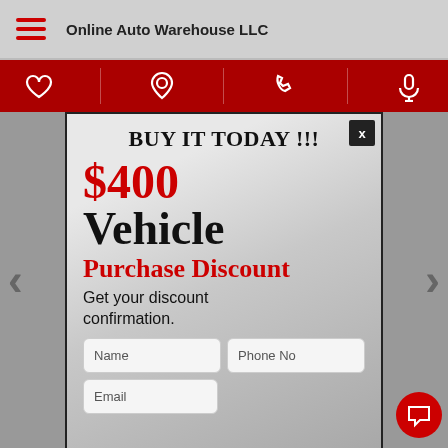Online Auto Warehouse LLC
[Figure (screenshot): Red navigation icon bar with heart, location pin, phone, and microphone icons separated by dividers]
BUY IT TODAY !!!
$400
Vehicle
Purchase Discount
Get your discount confirmation.
Name
Phone No
Email